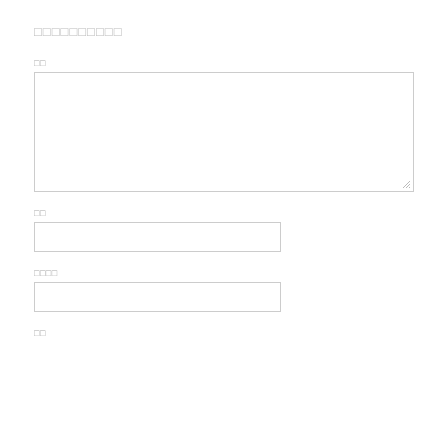□□□□□□□□□□
□□
[Figure (other): Large textarea input box with resize handle]
□□
[Figure (other): Single-line text input box]
□□□□
[Figure (other): Single-line text input box]
□□